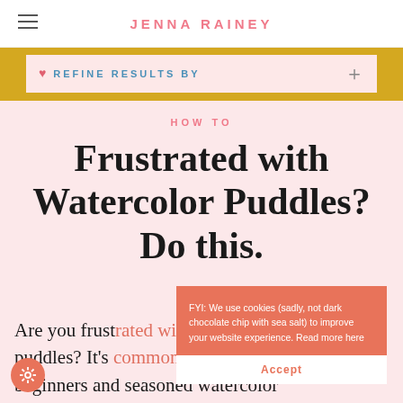JENNA RAINEY
[Figure (screenshot): Filter bar with pink heart icon, text 'REFINE RESULTS BY' in teal, and a plus icon on the right, on a gold/yellow background]
HOW TO
Frustrated with Watercolor Puddles? Do this.
Are you frustrated with watercolor puddles? It's common—for beginners and seasoned watercolor
[Figure (screenshot): Cookie consent banner with coral/salmon background reading: FYI: We use cookies (sadly, not dark chocolate chip with sea salt) to improve your website experience. Read more here. With an Accept button.]